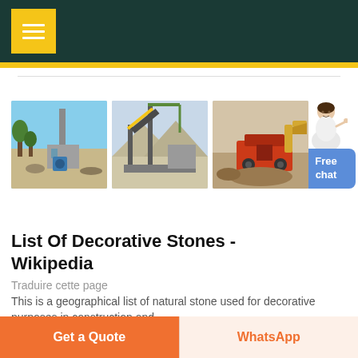Navigation header with menu button
[Figure (photo): Three industrial/mining site photos shown in a horizontal row: a plant with blue machinery and trees, a conveyor belt structure, and an excavator with red crushing equipment. A customer service avatar and Free chat button appear on the right.]
List Of Decorative Stones - Wikipedia
Traduire cette page
This is a geographical list of natural stone used for decorative purposes in construction and
Get a Quote | WhatsApp